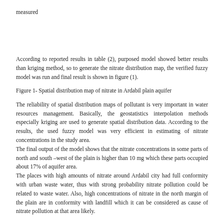measured
According to reported results in table (2), purposed model showed better results than kriging method, so to generate the nitrate distribution map, the verified fuzzy model was run and final result is shown in figure (1).
Figure 1- Spatial distribution map of nitrate in Ardabil plain aquifer
The reliability of spatial distribution maps of pollutant is very important in water resources management. Basically, the geostatistics interpolation methods especially kriging are used to generate spatial distribution data. According to the results, the used fuzzy model was very efficient in estimating of nitrate concentrations in the study area.
The final output of the model shows that the nitrate concentrations in some parts of north and south –west of the plain is higher than 10 mg which these parts occupied about 17% of aquifer area.
The places with high amounts of nitrate around Ardabil city had full conformity with urban waste water, thus with strong probability nitrate pollution could be related to waste water. Also, high concentrations of nitrate in the north margin of the plain are in conformity with landfill which it can be considered as cause of nitrate pollution at that area likely.